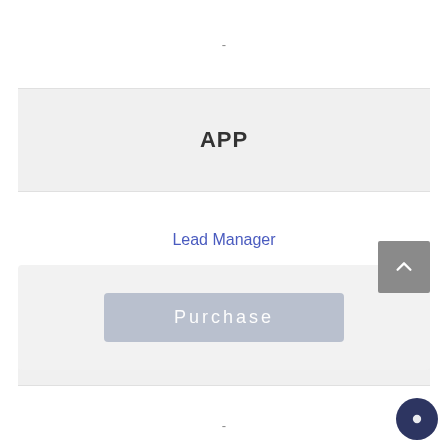-
APP
Lead Manager
yes
-
Purchase
[Figure (illustration): Scroll-to-top button (upward chevron on gray square background)]
[Figure (illustration): Chat/support bubble icon (dark navy circle with chat icon)]